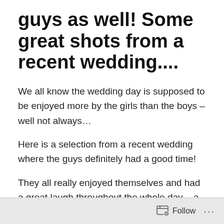guys as well! Some great shots from a recent wedding....
We all know the wedding day is supposed to be enjoyed more by the girls than the boys – well not always…
Here is a selection from a recent wedding where the guys definitely had a good time!
They all really enjoyed themselves and had a great laugh throughout the whole day – a real pleasure to be there to capture those mad moments for posterity.
These shots have had a light makeover in Adobe
Follow ···